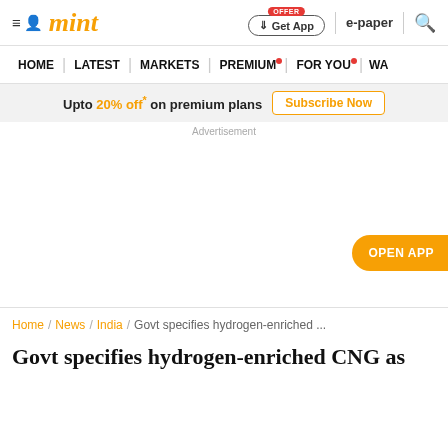mint — Get App | e-paper | search
HOME | LATEST | MARKETS | PREMIUM | FOR YOU | WA
Upto 20% off* on premium plans  Subscribe Now
Advertisement
OPEN APP
Home / News / India / Govt specifies hydrogen-enriched ...
Govt specifies hydrogen-enriched CNG as